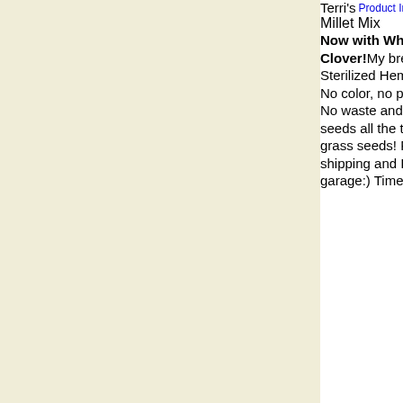Terri's
[Figure (other): Product Info button/link image]
Millet Mix
Now with White Perilla, Red and Yellow Sweet Clover! My breeding mix, contains 7 grass seeds, Niger, Sterilized Hemp, Black Lettuce, White Lettuce and more!
No color, no preservatives, just seeds.
No waste and great for all millet loving birds. Adding new seeds all the time..:) Parakeets and finches love the grass seeds! Price is due to expensive herbal seeds, shipping and I am not a seed mill, mix by hand in my garage:) Time consuming work!
Select a Size:
5 lb = 25.00
[Figure (other): Submit button image]